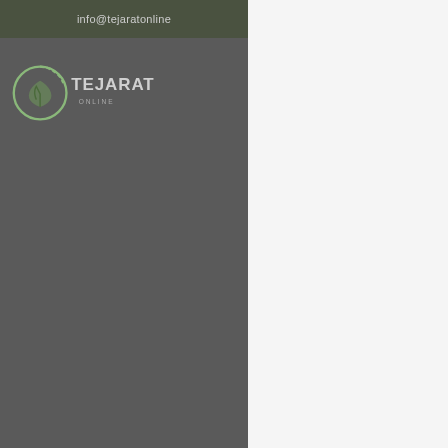info@tejaratonline
[Figure (logo): Tejarat Online logo with circular leaf/branch icon and TEJARAT text]
[Figure (other): Shopping cart icon with badge showing 1]
Your Cart
[Figure (photo): Product image placeholder (grey box with image icon)]
Growth – Social Media Optimiz… (SMO)
1 X Rs149.00
= Rs149.00
Subtotal: Rs149.00
Continue Shopping
View Cart
Checkout